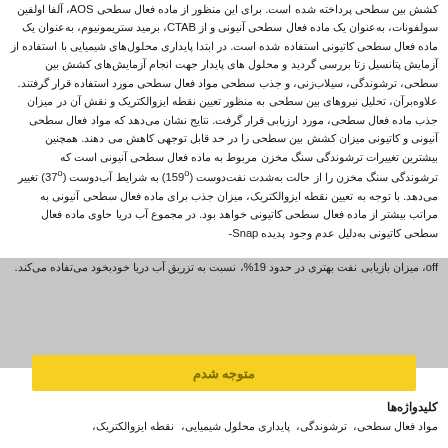کشش بین سطحی پرداخته شده است. برای این منظور از ماده فعال سطحی AOS، آلفا اولفین سولفونات، به‌عنوان یک ماده فعال سطحی آنیونی و از CTAB، برمید ستریمونیوم، به‌عنوان یک ماده فعال سطحی کاتیونی استفاده شده است. در ابتدا پایداری محلول‌های شیمیایی با استفاده از آزمایش پتانسیل زتا بررسی گردید و محلول های پایدار جهت انجام آزمایش‌های کشش بین سطحی، ترشوندگی، سیلاب‌زنی، و جذب سطحی مواد فعال سطحی مورد استفاده قرار گرفتند. علاوه‌بر‌آن، تحلیل نیروهای بین سطحی به منظور تعیین نقطه ایزوالکتریک و نقش آن در میزان جذب ماده فعال سطحی، مورد ارزیابی قرار گرفت. نتایج نشان می‌دهد که مواد فعال سطحی آنیونی و کاتیونی میزان کشش بین سطحی را در حد قابل توجهی کاهش می دهند. همچنین بیشترین تغییرات ترشوندگی سنگ مخزن مربوط به ماده فعال سطحی آنیونی است که ترشوندگی سنگ مخزن را از حالت به‌شدت نفت‌دوست (159°) به شرایط آب‌دوست (37°) تغییر می‌دهد. با توجه به تعیین نقطه ایزوالکتریک، میزان جذب برای ماده فعال سطحی آنیونی به مراتب بیشتر از ماده فعال سطحی کاتیونی خواهد بود.
در مجموع آب دریا حاوی ماده فعال سطحی کاتیونی به‌دلیل عدم وجود پدیده Snap-off، میزان بازیابی نفت بهتری در حدود 19%، نسبت به تزریق آب دریا خودبخود می‌تفاده می‌کند.
متوجه شدم
کلیدواژه‌ها
مواد فعال سطحی،  ترشوندگی،  پایداری محلول شیمیایی،  نقطه ایزوالکتریک،